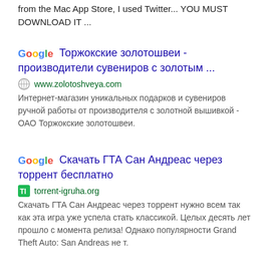from the Mac App Store, I used Twitter... YOU MUST DOWNLOAD IT ...
Торжокские золотошвеи - производители сувениров с золотым ...
www.zolotoshveya.com
Интернет-магазин уникальных подарков и сувениров ручной работы от производителя с золотной вышивкой - ОАО Торжокские золотошвеи.
Скачать ГТА Сан Андреас через торрент бесплатно
torrent-igruha.org
Скачать ГТА Сан Андреас через торрент нужно всем так как эта игра уже успела стать классикой. Целых десять лет прошло с момента релиза! Однако популярности Grand Theft Auto: San Andreas не т.